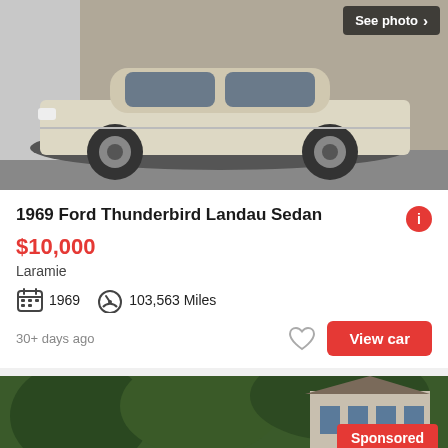[Figure (photo): 1969 Ford Thunderbird Landau Sedan, cream/white color, side view, parked on street. 'See photo >' overlay in top right.]
1969 Ford Thunderbird Landau Sedan
$10,000
Laramie
1969   103,563 Miles
30+ days ago
View car
[Figure (photo): Second car listing photo showing a brown/maroon car partially visible, green trees and house in background. 'Sponsored' badge and 'See photo >' overlay.]